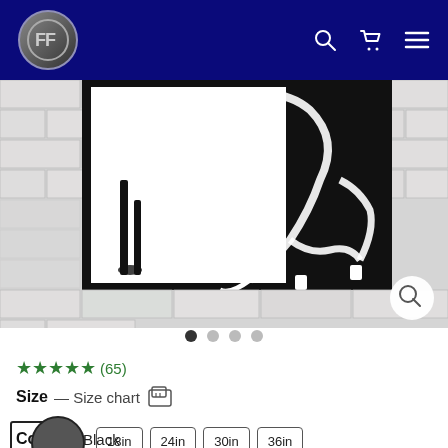FF logo navigation bar with search, cart, and menu icons
[Figure (photo): Black metal horse wall art mounted on a white brick wall. The artwork shows a rearing horse silhouette split between a white inner panel and black outer frame.]
★★★★★ (65)
Size — Size chart 🔍
12in  18in  24in  30in  36in
Color — Black